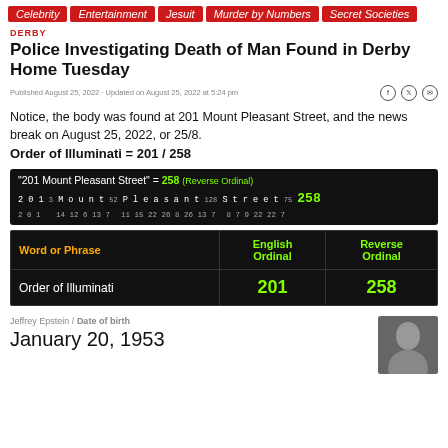Celebrity
Entertainment
Jesuit
Murder by Numbers
Secret Societies
DERBY
Police Investigating Death of Man Found in Derby Home Tuesday
Published August 25, 2022 · Updated on August 25, 2022 at 5:24 pm
Notice, the body was found at 201 Mount Pleasant Street, and the news break on August 25, 2022, or 25/8.
Order of Illuminati = 201 / 258
[Figure (infographic): Cipher breakdown: "201 Mount Pleasant Street" = 258 (Reverse Ordinal) with letter-by-letter numerical breakdown]
| Word or Phrase | English Ordinal | Reverse Ordinal |
| --- | --- | --- |
| Order of Illuminati | 201 | 258 |
Jeffrey Epstein / Date of birth
January 20, 1953